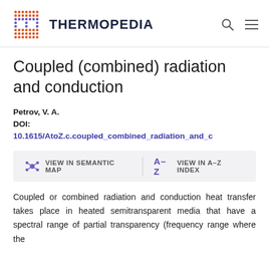THERMOPEDIA
Coupled (combined) radiation and conduction
Petrov, V. A.
DOI:
10.1615/AtoZ.c.coupled_combined_radiation_and_c
VIEW IN SEMANTIC MAP   A–Z  VIEW IN A–Z INDEX
Coupled or combined radiation and conduction heat transfer takes place in heated semitransparent media that have a spectral range of partial transparency (frequency range where the